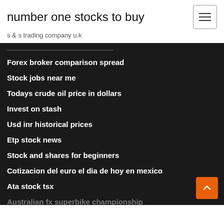number one stocks to buy
s & s trading company u.k
Forex broker comparison spread
Stock jobs near me
Todays crude oil price in dollars
Invest on stash
Usd inr historical prices
Etp stock news
Stock and shares for beginners
Cotizacion del euro el dia de hoy en mexico
Ata stock tsx
Australian fx superbike championship